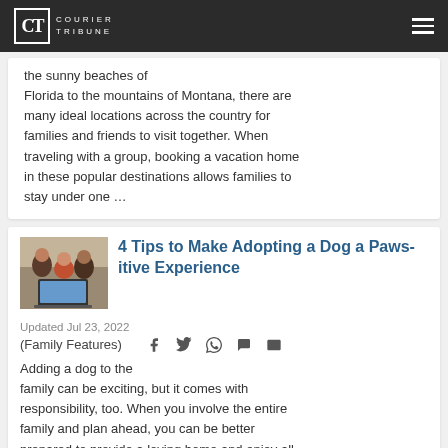CT | COURIER TRIBUNE
the sunny beaches of Florida to the mountains of Montana, there are many ideal locations across the country for families and friends to visit together. When traveling with a group, booking a vacation home in these popular destinations allows families to stay under one …
[Figure (photo): Thumbnail photo of a family group looking at a laptop]
4 Tips to Make Adopting a Dog a Paws-itive Experience
Updated Jul 23, 2022
(Family Features)
Adding a dog to the family can be exciting, but it comes with responsibility, too. When you involve the entire family and plan ahead, you can be better prepared to provide a loving home and enjoy all the unconditional love only a four-legged best